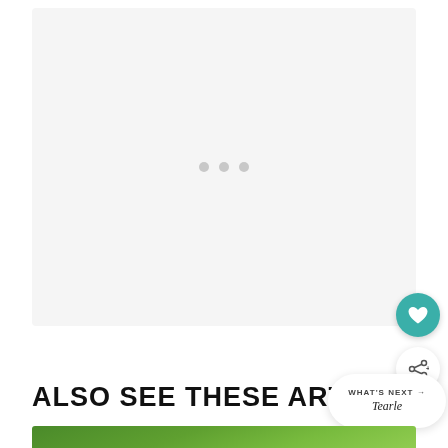[Figure (other): Light gray placeholder image area with three small gray dots centered, representing a loading or placeholder content block]
[Figure (other): Teal circular favorite/heart button]
[Figure (other): White circular share button with share icon and plus symbol]
ALSO SEE THESE ARTI-
WHAT'S NEXT → Tearle
[Figure (photo): Bottom strip showing green foliage/grass image]